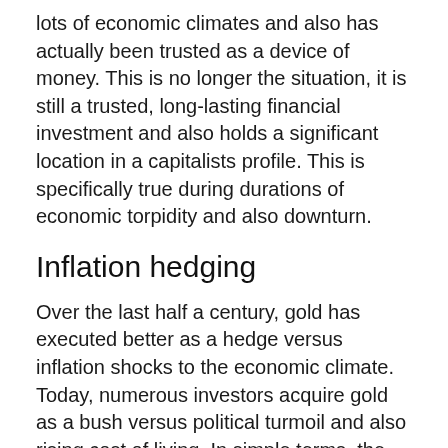lots of economic climates and also has actually been trusted as a device of money. This is no longer the situation, it is still a trusted, long-lasting financial investment and also holds a significant location in a capitalists profile. This is specifically true during durations of economic torpidity and also downturn.
Inflation hedging
Over the last half a century, gold has executed better as a hedge versus inflation shocks to the economic climate. Today, numerous investors acquire gold as a bush versus political turmoil and also rising cost of living. In simple terms, the cost of gold tends to rise in accordance with the price of living